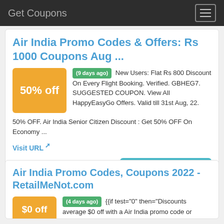Get Coupons
Air India Promo Codes & Offers: Rs 1000 Coupons Aug ...
(9 days ago) New Users: Flat Rs 800 Discount On Every Flight Booking. Verified. GBHEG7. SUGGESTED COUPON. View All HappyEasyGo Offers. Valid till 31st Aug, 22. 50% OFF. Air India Senior Citizen Discount : Get 50% OFF On Economy ...
Visit URL
Category: coupon codes
Show All Coupons
Air India Promo Codes, Coupons 2022 - RetailMeNot.com
(4 days ago) {{if test="0" then="Discounts average $0 off with a Air India promo code or